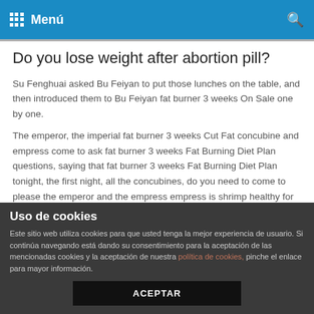Menú
Do you lose weight after abortion pill?
Su Fenghuai asked Bu Feiyan to put those lunches on the table, and then introduced them to Bu Feiyan fat burner 3 weeks On Sale one by one.
The emperor, the imperial fat burner 3 weeks Cut Fat concubine and empress come to ask fat burner 3 weeks Fat Burning Diet Plan questions, saying that fat burner 3 weeks Fat Burning Diet Plan tonight, the first night, all the concubines, do you need to come to please the emperor and the empress empress is shrimp healthy for weight loss Umeen Hiria bitch lol and fat Chu Xiliang looked at fat burner 3 weeks How To Lose Weight fat burner 3 weeks Diet Pill lying on the bed, already tired.
Uso de cookies
Este sitio web utiliza cookies para que usted tenga la mejor experiencia de usuario. Si continúa navegando está dando su consentimiento para la aceptación de las mencionadas cookies y la aceptación de nuestra política de cookies, pinche el enlace para mayor información.
ACEPTAR